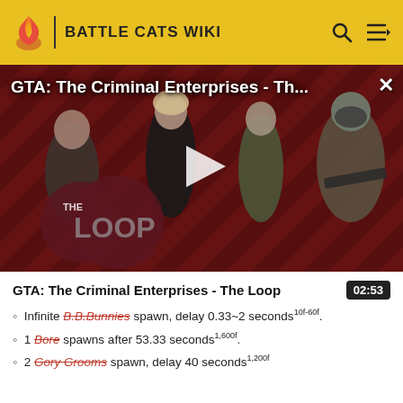BATTLE CATS WIKI
[Figure (screenshot): Video thumbnail for GTA: The Criminal Enterprises - The Loop. Shows characters from the game on a red diagonal-striped background with a play button overlay and The Loop logo badge. Title reads: GTA: The Criminal Enterprises - Th... with a close (x) button.]
GTA: The Criminal Enterprises - The Loop
02:53
Infinite B.B.Bunnies spawn, delay 0.33~2 seconds 10f-60f.
1 Bore spawns after 53.33 seconds 1,600f.
2 Gory Grooms spawn, delay 40 seconds 1,200f